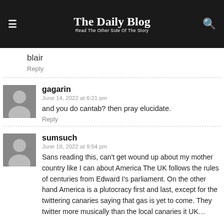The Daily Blog — Read The Other Side Of The Story
blair
Reply
gagarin
June 14, 2022 at 6:21 pm
and you do cantab? then pray elucidate.
Reply
sumsuch
June 18, 2022 at 9:54 pm
Sans reading this, can't get wound up about my mother country like I can about America The UK follows the rules of centuries from Edward I's parliament. On the other hand America is a plutocracy first and last, except for the twittering canaries saying that gas is yet to come. They twitter more musically than the local canaries it UK...